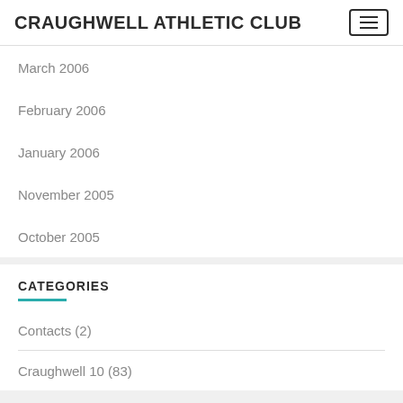CRAUGHWELL ATHLETIC CLUB
March 2006
February 2006
January 2006
November 2005
October 2005
CATEGORIES
Contacts (2)
Craughwell 10 (83)